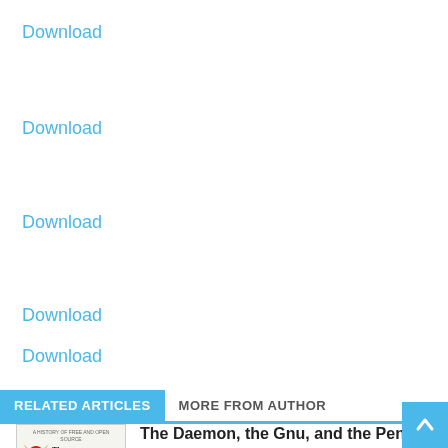Download
Download
Download
Download
Download
RELATED ARTICLES    MORE FROM AUTHOR
[Figure (photo): Book cover of 'The Daemon, the Gnu, and the Penguin' with devil mascot illustration]
The Daemon, the Gnu, and the Penguin